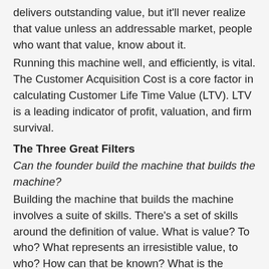delivers outstanding value, but it'll never realize that value unless an addressable market, people who want that value, know about it.
Running this machine well, and efficiently, is vital. The Customer Acquisition Cost is a core factor in calculating Customer Life Time Value (LTV). LTV is a leading indicator of profit, valuation, and firm survival.
The Three Great Filters
Can the founder build the machine that builds the machine?
Building the machine that builds the machine involves a suite of skills. There's a set of skills around the definition of value. What is value? To who? What represents an irresistible value, to who? How can that be known? What is the smallest possible machine that can deliver value? Who is needed to build that machine? Can it be built? Can the founder rally the resources necessary to build it? Can they